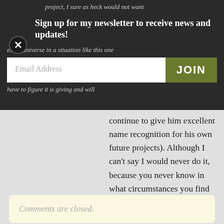project, I sure as heck would not want
Sign up for my newsletter to receive news and updates!
else's universe in a situation like this one
Email Address
JOIN
have to figure it is giving and will continue to give him excellent name recognition for his own future projects). Although I can't say I would never do it, because you never know in what circumstances you find yourself.
Comments are closed.
SUBSCRIBE
Enter your address to receive email notification of new posts.